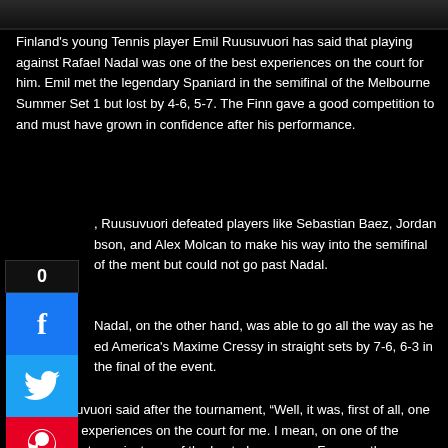[Figure (photo): Top image bar showing a sports/tennis scene, partially visible]
Finland's young Tennis player Emil Ruusuvuori has said that playing against Rafael Nadal was one of the best experiences on the court for him. Emil met the legendary Spaniard in the semifinal of the Melbourne Summer Set 1 but lost by 4-6, 5-7. The Finn gave a good competition to and must have grown in confidence after his performance.
Ruusuvuori defeated players like Sebastian Baez, Jordan bson, and Alex Molcan to make his way into the semifinal of the ment but could not go past Nadal.
Nadal, on the other hand, was able to go all the way as he ed America's Maxime Cressy in straight sets by 7-6, 6-3 in the final of the event.
Emil Ruusuvuori said after the tournament, “Well, it was, first of all, one of the best experiences on the court for me. I mean, on one of the biggest courts against one of the best players ever. For sure there were some nerves before the match, and it looked like he had some, too. The first few games weren't the best. But it was a good match overall. I thought for a while I did good things, some things for sure. It’s improving; that’s also a good thing. But the main thing is it was a very, very cool experience.”